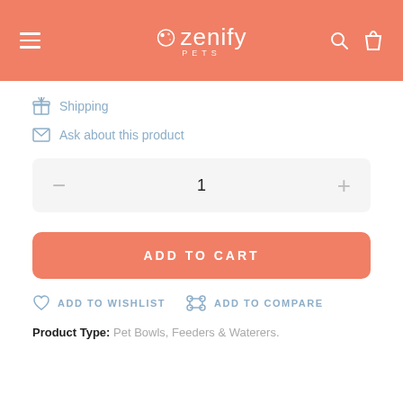Zenify Pets — navigation header with menu, logo, search and cart icons
Shipping
Ask about this product
1 (quantity selector)
ADD TO CART
ADD TO WISHLIST
ADD TO COMPARE
Product Type: Pet Bowls, Feeders & Waterers.